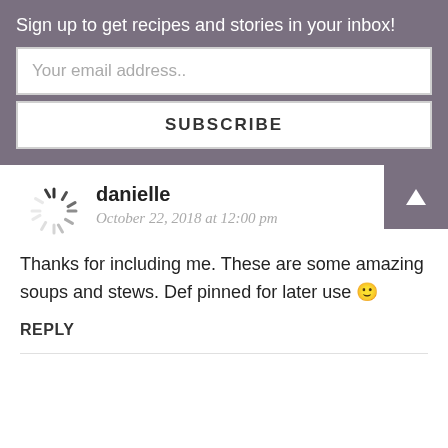Sign up to get recipes and stories in your inbox!
Your email address..
SUBSCRIBE
danielle
October 22, 2018 at 12:00 pm
[Figure (illustration): Loading spinner / avatar placeholder icon]
Thanks for including me. These are some amazing soups and stews. Def pinned for later use 🙂
REPLY